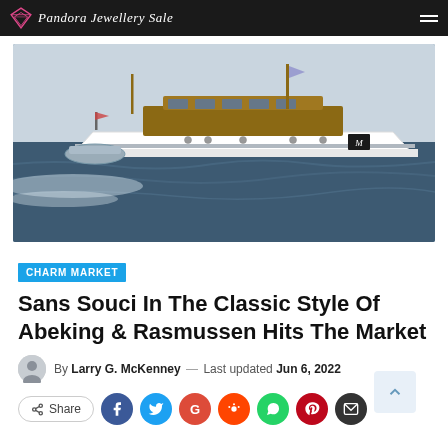Pandora Jewellery Sale
[Figure (photo): A classic white motor yacht with wooden superstructure travelling at speed across dark choppy water, with a small tender visible at the rear. The yacht has a flag at the bow and a monogram on the hull.]
CHARM MARKET
Sans Souci In The Classic Style Of Abeking & Rasmussen Hits The Market
By Larry G. McKenney — Last updated Jun 6, 2022